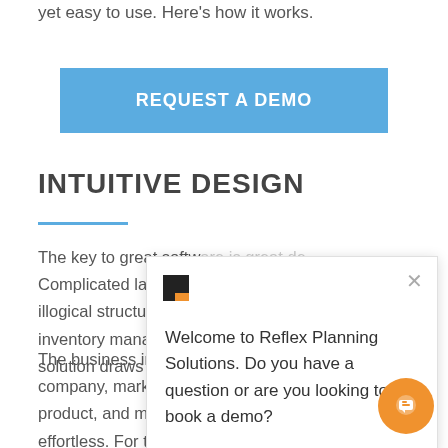yet easy to use. Here's how it works.
[Figure (other): REQUEST A DEMO button in blue]
INTUITIVE DESIGN
The key to great software is great de... Complicated layouts, b... illogical structures are... inventory management... solution draws upon th...
[Figure (screenshot): Chat popup from Reflex Planning Solutions with logo, close button, and message: Welcome to Reflex Planning Solutions. Do you have a question or are you looking to book a demo?]
The business information flows can be viewed by company, market, customer, brand, family, and product, and moving between the segments is effortless. For the user, this means a comfortable